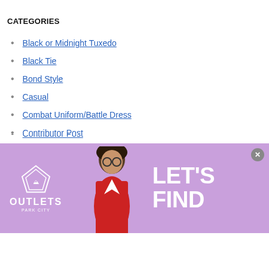CATEGORIES
Black or Midnight Tuxedo
Black Tie
Bond Style
Casual
Combat Uniform/Battle Dress
Contributor Post
Creative Black Tie
Features
Film Noir Fashions
Flight Jackets
[Figure (screenshot): Infolinks advertisement banner showing Outlets Park City logo, a woman with glasses, and text 'LET'S FIND' on a purple background with a close button]